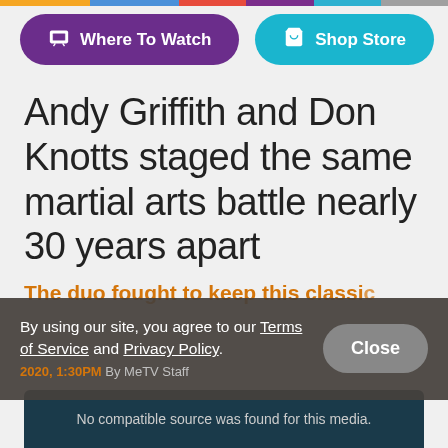[Figure (other): Top navigation bar with rainbow-colored stripe]
Where To Watch
Shop Store
Andy Griffith and Don Knotts staged the same martial arts battle nearly 30 years apart
The duo fought to keep this classic
By using our site, you agree to our Terms of Service and Privacy Policy.
Close
2020, 1:30PM By MeTV Staff
No compatible source was found for this media.